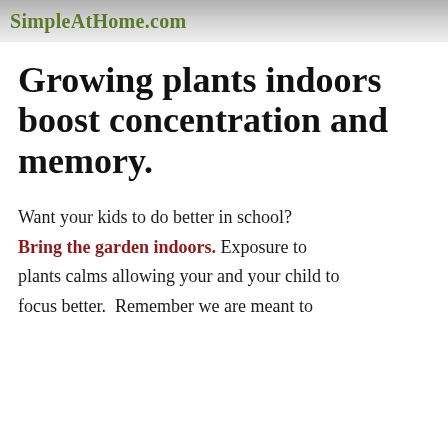SimpleAtHome.com
Growing plants indoors boost concentration and memory.
Want your kids to do better in school? Bring the garden indoors. Exposure to plants calms allowing your and your child to focus better.  Remember we are meant to